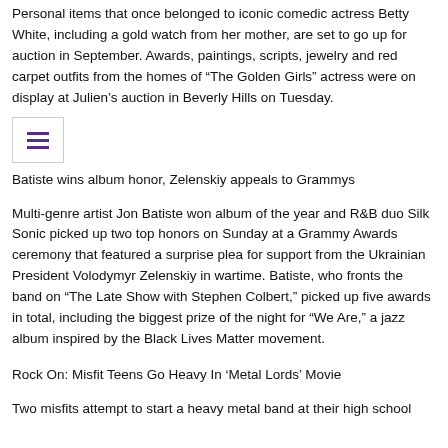Personal items that once belonged to iconic comedic actress Betty White, including a gold watch from her mother, are set to go up for auction in September. Awards, paintings, scripts, jewelry and red carpet outfits from the homes of “The Golden Girls” actress were on display at Julien’s auction in Beverly Hills on Tuesday.
[Figure (other): Hamburger menu icon (three horizontal lines) in a bordered box]
Batiste wins album honor, Zelenskiy appeals to Grammys
Multi-genre artist Jon Batiste won album of the year and R&B duo Silk Sonic picked up two top honors on Sunday at a Grammy Awards ceremony that featured a surprise plea for support from the Ukrainian President Volodymyr Zelenskiy in wartime. Batiste, who fronts the band on “The Late Show with Stephen Colbert,” picked up five awards in total, including the biggest prize of the night for “We Are,” a jazz album inspired by the Black Lives Matter movement.
Rock On: Misfit Teens Go Heavy In ‘Metal Lords’ Movie
Two misfits attempt to start a heavy metal band at their high school